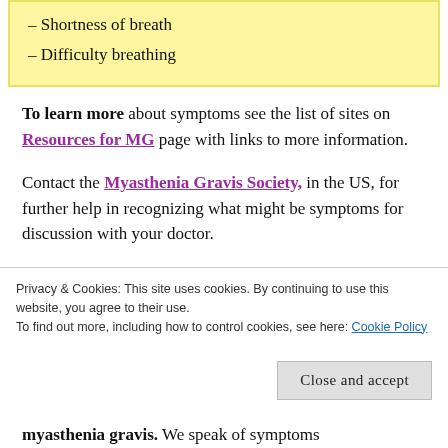– Shortness of breath
– Difficulty breathing
To learn more about symptoms see the list of sites on Resources for MG page with links to more information.
Contact the Myasthenia Gravis Society, in the US, for further help in recognizing what might be symptoms for discussion with your doctor.
Privacy & Cookies: This site uses cookies. By continuing to use this website, you agree to their use. To find out more, including how to control cookies, see here: Cookie Policy
myasthenia gravis. We speak of symptoms